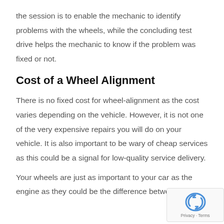the session is to enable the mechanic to identify problems with the wheels, while the concluding test drive helps the mechanic to know if the problem was fixed or not.
Cost of a Wheel Alignment
There is no fixed cost for wheel-alignment as the cost varies depending on the vehicle. However, it is not one of the very expensive repairs you will do on your vehicle. It is also important to be wary of cheap services as this could be a signal for low-quality service delivery.
Your wheels are just as important to your car as the engine as they could be the difference between safe